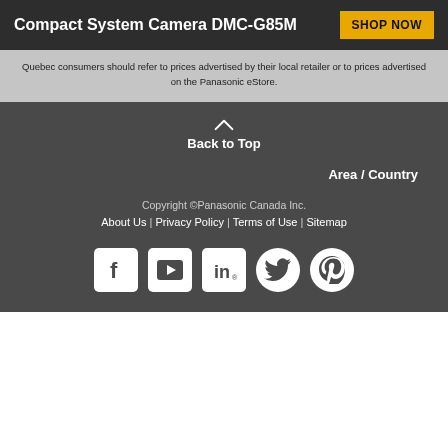Compact System Camera DMC-G85M
Quebec consumers should refer to prices advertised by their local retailer or to prices advertised on the Panasonic eStore.
Back to Top
Area / Country
Copyright ©Panasonic Canada Inc.
About Us | Privacy Policy | Terms of Use | Sitemap
[Figure (logo): Social media icons: Facebook, YouTube, LinkedIn, Twitter, Pinterest]